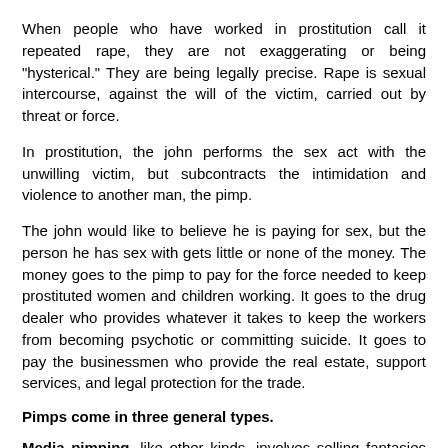When people who have worked in prostitution call it repeated rape, they are not exaggerating or being "hysterical." They are being legally precise. Rape is sexual intercourse, against the will of the victim, carried out by threat or force.
In prostitution, the john performs the sex act with the unwilling victim, but subcontracts the intimidation and violence to another man, the pimp.
The john would like to believe he is paying for sex, but the person he has sex with gets little or none of the money. The money goes to the pimp to pay for the force needed to keep prostituted women and children working. It goes to the drug dealer who provides whatever it takes to keep the workers from becoming psychotic or committing suicide. It goes to pay the businessmen who provide the real estate, support services, and legal protection for the trade.
Pimps come in three general types.
Media pimping, like other kinds, involves selling fantasies that ultimately hurt people. Two of their central lies are that women are only good for sex, and men are only good for violence.